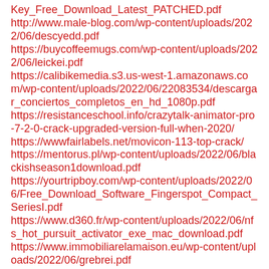Key_Free_Download_Latest_PATCHED.pdf
http://www.male-blog.com/wp-content/uploads/2022/06/descyedd.pdf
https://buycoffeemugs.com/wp-content/uploads/2022/06/leickei.pdf
https://calibikemedia.s3.us-west-1.amazonaws.com/wp-content/uploads/2022/06/22083534/descargar_conciertos_completos_en_hd_1080p.pdf
https://resistanceschool.info/crazytalk-animator-pro-7-2-0-crack-upgraded-version-full-when-2020/
https://wwwfairlabels.net/movicon-113-top-crack/
https://mentorus.pl/wp-content/uploads/2022/06/blackishseason1download.pdf
https://yourtripboy.com/wp-content/uploads/2022/06/Free_Download_Software_Fingerspot_Compact_SeriesI.pdf
https://www.d360.fr/wp-content/uploads/2022/06/nfs_hot_pursuit_activator_exe_mac_download.pdf
https://www.immobiliarelamaison.eu/wp-content/uploads/2022/06/grebrei.pdf
https://hamshack.ca/wp-